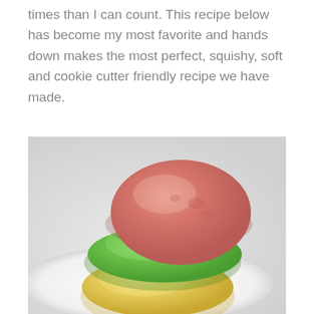times than I can count. This recipe below has become my most favorite and hands down makes the most perfect, squishy, soft and cookie cutter friendly recipe we have made.
[Figure (photo): Three stacked balls of colorful play dough on a white plate — pink/red on top, green in the middle, and yellow on the bottom.]